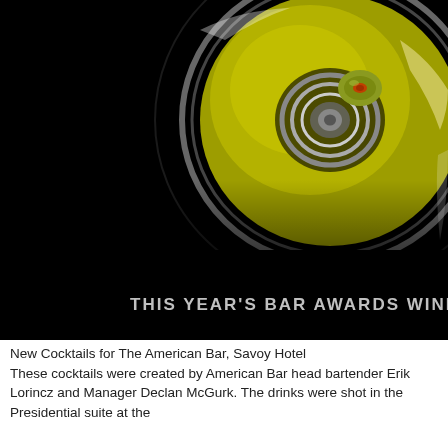[Figure (photo): Overhead close-up of a martini glass with yellow-green liquid and an olive, seen from above against a black background. Partial text overlay reads 'THIS YEAR'S BAR AWARDS WINNERS R' in silver capital letters.]
New Cocktails for The American Bar, Savoy Hotel
These cocktails were created by American Bar head bartender Erik Lorincz and Manager Declan McGurk. The drinks were shot in the Presidential suite at the